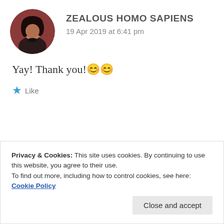[Figure (photo): Circular avatar photo of a person with dark hair against a brownish-red background]
ZEALOUS HOMO SAPIENS
19 Apr 2019 at 6:41 pm
Yay! Thank you! 😊😊
★ Like
Privacy & Cookies: This site uses cookies. By continuing to use this website, you agree to their use.
To find out more, including how to control cookies, see here: Cookie Policy
Close and accept